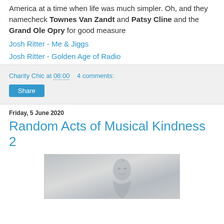America at a time when life was much simpler. Oh, and they namecheck Townes Van Zandt and Patsy Cline and the Grand Ole Opry for good measure
Josh Ritter - Me & Jiggs
Josh Ritter - Golden Age of Radio
Charity Chic at 08:00    4 comments:
Share
Friday, 5 June 2020
Random Acts of Musical Kindness 2
[Figure (photo): Black and white photo of a person, partially visible, appearing to be looking to the side]